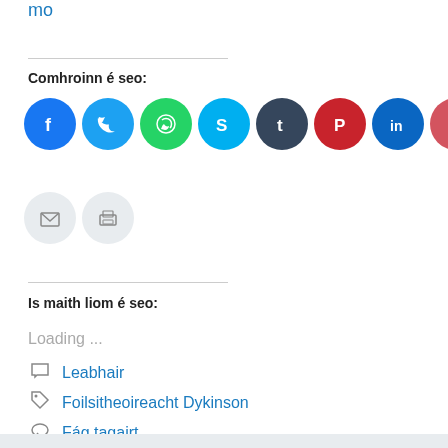mo
Comhroinn é seo:
[Figure (infographic): Row of social media share buttons: Facebook, Twitter, WhatsApp, Skype, Tumblr, Pinterest, LinkedIn, Pocket, Telegram, Reddit, Email, Print]
Is maith liom é seo:
Loading ...
Leabhair
Foilsitheoireacht Dykinson
Fág tagairt